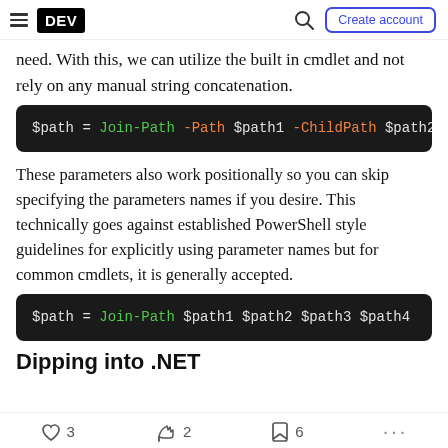DEV | Create account
need. With this, we can utilize the built in cmdlet and not rely on any manual string concatenation.
[Figure (screenshot): Code block: $path = Join-Path -Path $path1 -ChildPath $path2]
These parameters also work positionally so you can skip specifying the parameters names if you desire. This technically goes against established PowerShell style guidelines for explicitly using parameter names but for common cmdlets, it is generally accepted.
[Figure (screenshot): Code block: $path = Join-Path $path1 $path2 $path3 $path4]
Dipping into .NET
3  2  6  ...